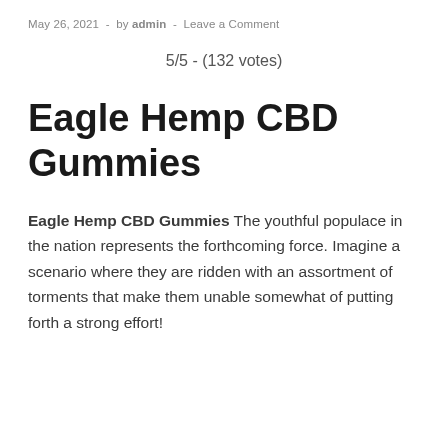May 26, 2021  -  by admin  -  Leave a Comment
5/5 - (132 votes)
Eagle Hemp CBD Gummies
Eagle Hemp CBD Gummies The youthful populace in the nation represents the forthcoming force. Imagine a scenario where they are ridden with an assortment of torments that make them unable somewhat of putting forth a strong effort!